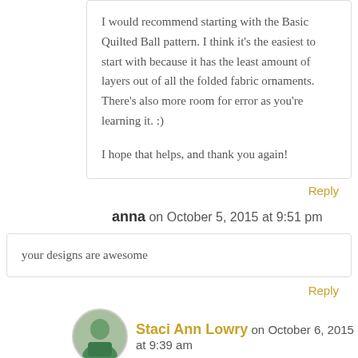I would recommend starting with the Basic Quilted Ball pattern. I think it's the easiest to start with because it has the least amount of layers out of all the folded fabric ornaments. There's also more room for error as you're learning it. :)
I hope that helps, and thank you again!
Reply
anna on October 5, 2015 at 9:51 pm
your designs are awesome
Reply
Staci Ann Lowry on October 6, 2015 at 9:39 am
Thank you! :)